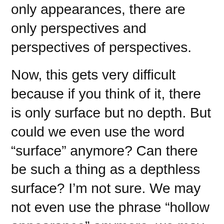only appearances, there are only perspectives and perspectives of perspectives.
Now, this gets very difficult because if you think of it, there is only surface but no depth.  But could we even use the word “surface” anymore?  Can there be such a thing as a depthless surface?  I’m not sure.  We may not even use the phrase “hollow appearance” anymore, we may not even use the phrase “empty phenomenon.”  Because phenomena are all that we have.  Appearances are all that we have.  The world of appearances is objective truth.  And that is it.  Nietzsche is affirmative of life itself.  Life itself is the surface, is imagery without profundity.  Life is liberated and